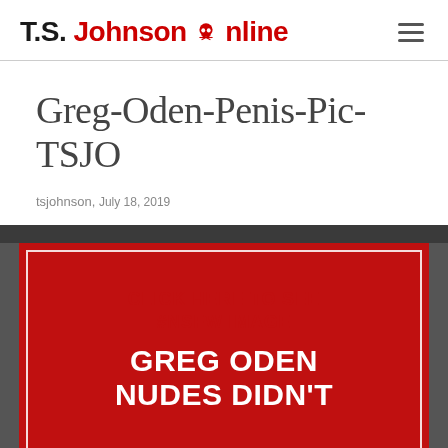T.S. Johnson Online
Greg-Oden-Penis-Pic-TSJO
tsjohnson, July 18, 2019
[Figure (illustration): Red promotional image with white border. Text reads: CLICK HERE TO SEE #NSFW IMAGE — GREG ODEN NUDES DIDN'T]